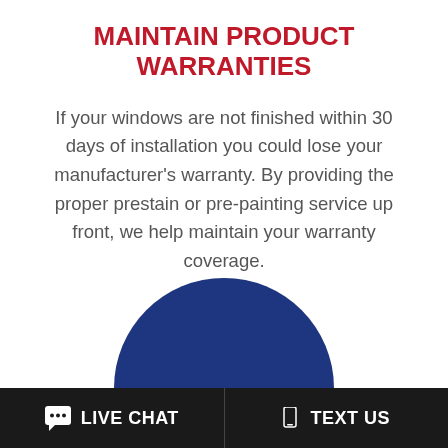MAINTAIN PRODUCT WARRANTIES
If your windows are not finished within 30 days of installation you could lose your manufacturer’s warranty. By providing the proper prestain or pre-painting service up front, we help maintain your warranty coverage.
[Figure (illustration): Top portion of a dark blue circle visible at the bottom of the content area, partially cropped]
💬 LIVE CHAT   📱 TEXT US